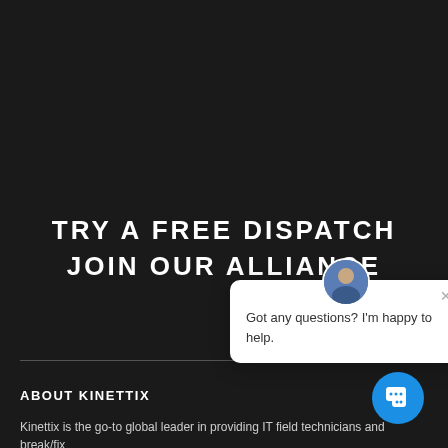TRY A FREE DISPATCH
JOIN OUR ALLIANCE
[Figure (other): Chat popup overlay with avatar photo of a man, close button (×), and text: Got any questions? I'm happy to help.]
ABOUT KINETTIX
Kinettix is the go-to global leader in providing IT field technicians and break/fix
[Figure (other): Blue circular chat button with chat bubble icon in bottom right corner]